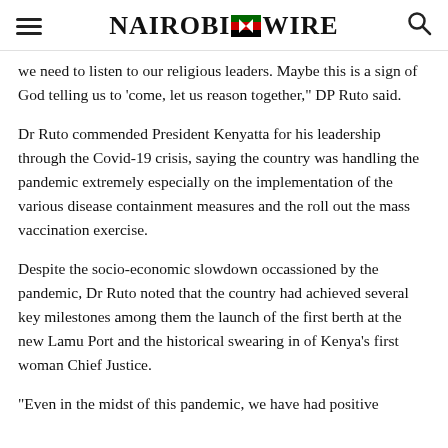Nairobi Wire
we need to listen to our religious leaders. Maybe this is a sign of God telling us to ‘come, let us reason together,” DP Ruto said.
Dr Ruto commended President Kenyatta for his leadership through the Covid-19 crisis, saying the country was handling the pandemic extremely especially on the implementation of the various disease containment measures and the roll out the mass vaccination exercise.
Despite the socio-economic slowdown occassioned by the pandemic, Dr Ruto noted that the country had achieved several key milestones among them the launch of the first berth at the new Lamu Port and the historical swearing in of Kenya’s first woman Chief Justice.
“Even in the midst of this pandemic, we have had positive